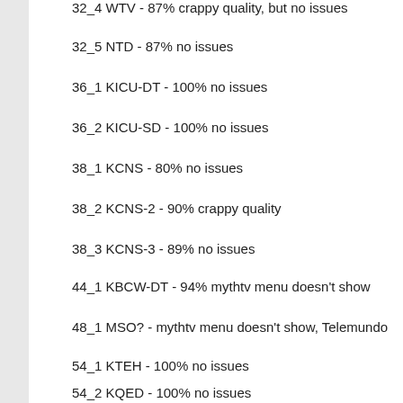32_4 WTV - 87% crappy quality, but no issues
32_5 NTD - 87% no issues
36_1 KICU-DT - 100% no issues
36_2 KICU-SD - 100% no issues
38_1 KCNS - 80% no issues
38_2 KCNS-2 - 90% crappy quality
38_3 KCNS-3 - 89% no issues
44_1 KBCW-DT - 94% mythtv menu doesn't show
48_1 MSO? - mythtv menu doesn't show, Telemundo
54_1 KTEH - 100% no issues
54_2 KQED - 100% no issues